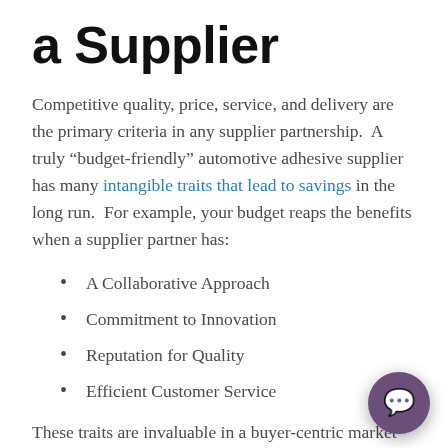a Supplier
Competitive quality, price, service, and delivery are the primary criteria in any supplier partnership.  A truly “budget-friendly” automotive adhesive supplier has many intangible traits that lead to savings in the long run.  For example, your budget reaps the benefits when a supplier partner has:
A Collaborative Approach
Commitment to Innovation
Reputation for Quality
Efficient Customer Service
These traits are invaluable in a buyer-centric market that has already pushed prices to a minimum.  Online bid directories have empowered purchasers with more transparency in costs and increased access to a sea of